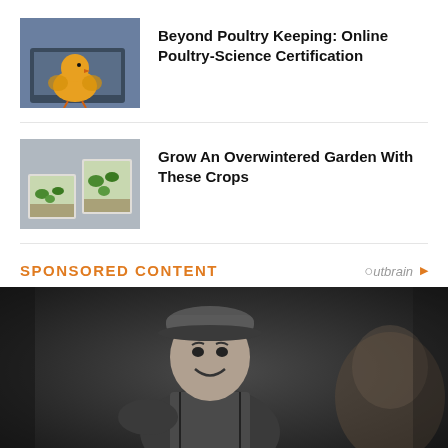[Figure (photo): Yellow baby chick standing in front of a laptop computer]
Beyond Poultry Keeping: Online Poultry-Science Certification
[Figure (photo): Cold frame garden boxes with seedlings growing inside]
Grow An Overwintered Garden With These Crops
SPONSORED CONTENT
[Figure (photo): Black and white photo of a smiling man wearing a basketball jersey and cap]